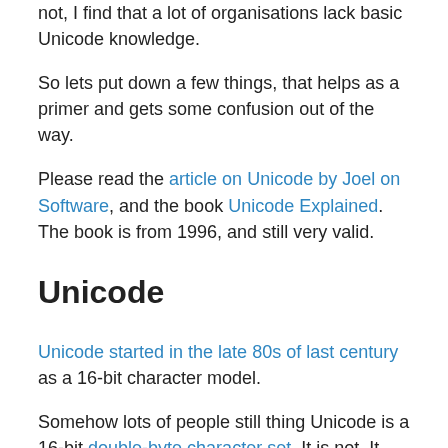not, I find that a lot of organisations lack basic Unicode knowledge.
So lets put down a few things, that helps as a primer and gets some confusion out of the way.
Please read the article on Unicode by Joel on Software, and the book Unicode Explained. The book is from 1996, and still very valid.
Unicode
Unicode started in the late 80s of last century as a 16-bit character model.
Somehow lots of people still thing Unicode is a 16-bit double-byte character set. It is not. It uses a variable width